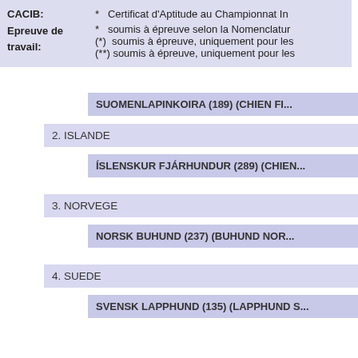CACIB: * Certificat d'Aptitude au Championnat In
Epreuve de travail: * soumis à épreuve selon la Nomenclatur
(*) soumis à épreuve, uniquement pour les
(**) soumis à épreuve, uniquement pour les
SUOMENLAPINKOIRA (189) (CHIEN FI...
2. ISLANDE
ÍSLENSKUR FJÁRHUNDUR (289) (CHIEN...
3. NORVEGE
NORSK BUHUND (237) (BUHUND NOR...
4. SUEDE
SVENSK LAPPHUND (135) (LAPPHUND S...